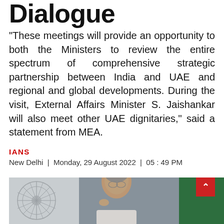Dialogue
"These meetings will provide an opportunity to both the Ministers to review the entire spectrum of comprehensive strategic partnership between India and UAE and regional and global developments. During the visit, External Affairs Minister S. Jaishankar will also meet other UAE dignitaries," said a statement from MEA.
IANS
New Delhi | Monday, 29 August 2022 | 05 : 49 PM
[Figure (photo): Photo of External Affairs Minister S. Jaishankar gesturing with finger, with Indian flag in the background]